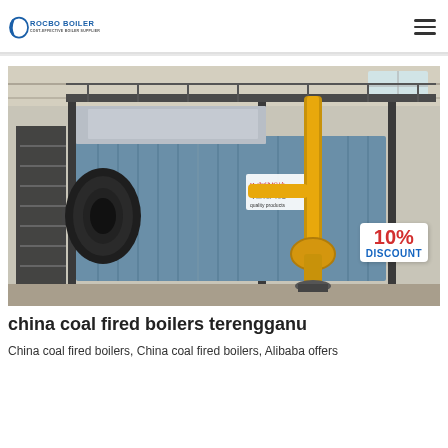ROCBO BOILER — COST-EFFECTIVE BOILER SUPPLIER
[Figure (photo): Industrial coal fired boiler in a factory setting. The boiler is a large horizontal vessel with blue corrugated casing, black cylindrical front, yellow piping, and a metal access stairway on the left. A red and white '10% DISCOUNT' badge is overlaid in the lower right corner.]
china coal fired boilers terengganu
China coal fired boilers, China coal fired boilers, Alibaba offers